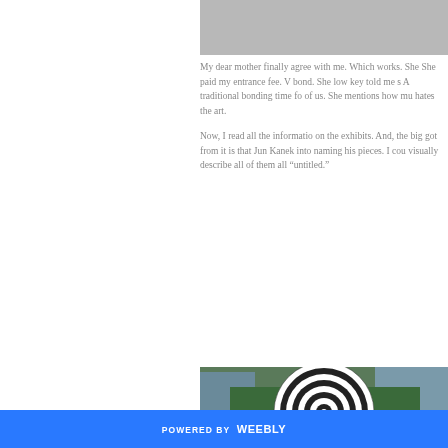[Figure (photo): Gray/silver toned partial image at top right of page]
My dear mother finally agree with me. Which works. She She paid my entrance fee. V bond. She low key told me s A traditional bonding time fo of us. She mentions how mu hates the art.
Now, I read all the informatio on the exhibits. And, the big got from it is that Jun Kanek into naming his pieces. I cou visually describe all of them all “untitled.”
[Figure (photo): Outdoor photograph showing a large black and white spiral sculpture with trees and buildings in background]
POWERED BY weebly